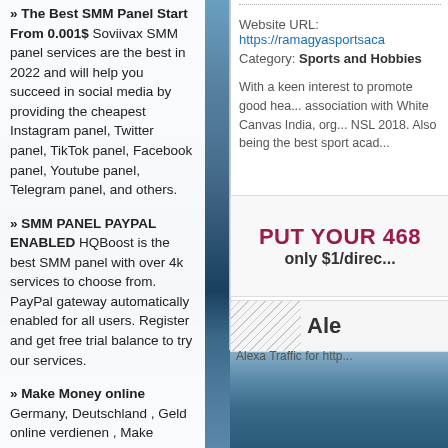» The Best SMM Panel Start From 0.001$ Soviivax SMM panel services are the best in 2022 and will help you succeed in social media by providing the cheapest Instagram panel, Twitter panel, TikTok panel, Facebook panel, Youtube panel, Telegram panel, and others.
» SMM PANEL PAYPAL ENABLED HQBoost is the best SMM panel with over 4k services to choose from. PayPal gateway automatically enabled for all users. Register and get free trial balance to try our services.
» Make Money online Germany, Deutschland , Geld online verdienen , Make Money online , Smartphone Money Make , money with your smartphone
Website URL: https://ramagyasportsaca...
Category: Sports and Hobbies
With a keen interest to promote good hea... association with White Canvas India, org... NSL 2018. Also being the best sport acad...
[Figure (other): Advertisement banner: PUT YOUR 468... only $1/direc...]
[Figure (other): Alexa Traffic section with diagonal hash pattern and title 'Ale...' and text 'Alexa Traffic for http...']